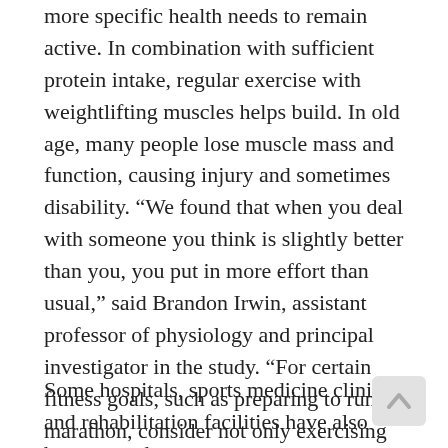more specific health needs to remain active. In combination with sufficient protein intake, regular exercise with weightlifting muscles helps build. In old age, many people lose muscle mass and function, causing injury and sometimes disability. “We found that when you deal with someone you think is slightly better than you, you put in more effort than usual,” said Brandon Irwin, assistant professor of physiology and principal investigator in the study. “For certain fitness goals, such as preparing to run a marathon, consider not only exercising with someone else, but also someone much better. For an extra boost, consider a form of team exercise that involves competition, such as playing basketball at a regular time during the week.”
Some hospitals, sports medicine clinics and rehabilitation facilities have also become and...